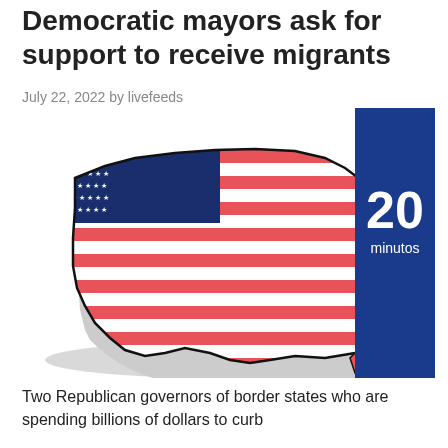Democratic mayors ask for support to receive migrants
July 22, 2022 by livefeeds
[Figure (illustration): Illustration of the United States map styled with the American flag (red and white stripes, blue canton with white stars). A tall dark blue vertical banner overlaps on the right side showing the number '20' in large bold white text and 'minutos' below it in smaller white text. The map has a gray 3D shadow effect beneath it.]
Two Republican governors of border states who are spending billions of dollars to curb